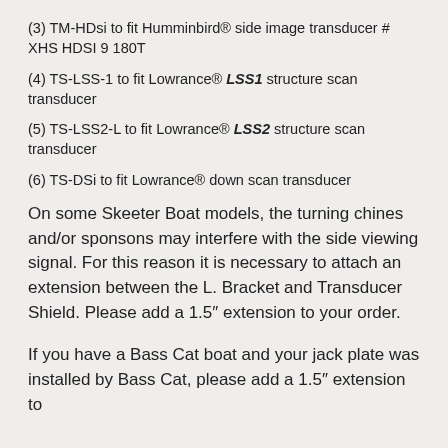(3)  TM-HDsi to fit Humminbird® side image transducer # XHS HDSI 9 180T
(4)  TS-LSS-1 to fit Lowrance® LSS1 structure scan transducer
(5)  TS-LSS2-L to fit Lowrance® LSS2 structure scan transducer
(6)  TS-DSi to fit Lowrance® down scan transducer
On some Skeeter Boat models, the turning chines and/or sponsons may interfere with the side viewing signal.  For this reason it is necessary to attach an extension between the L. Bracket and Transducer Shield.  Please add a 1.5″ extension to your order.
If you have a Bass Cat boat and your jack plate was installed by Bass Cat, please add a 1.5″ extension to